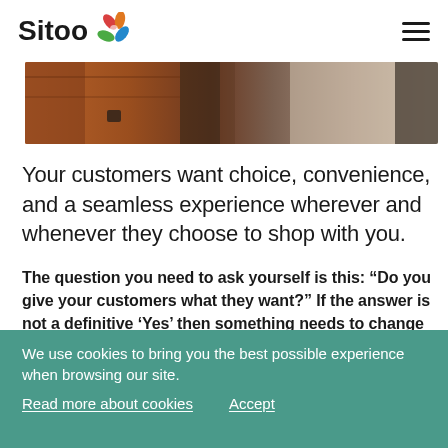Sitoo
[Figure (photo): Partial view of a retail or warehouse environment, showing shelving, bags, and a person in motion, warm orange-brown tones.]
Your customers want choice, convenience, and a seamless experience wherever and whenever they choose to shop with you.
The question you need to ask yourself is this: “Do you give your customers what they want?” If the answer is not a definitive ‘Yes’ then something needs to change and one of the easiest ways of doing this is to have connected multi-channel selling.
We use cookies to bring you the best possible experience when browsing our site.
Read more about cookies    Accept